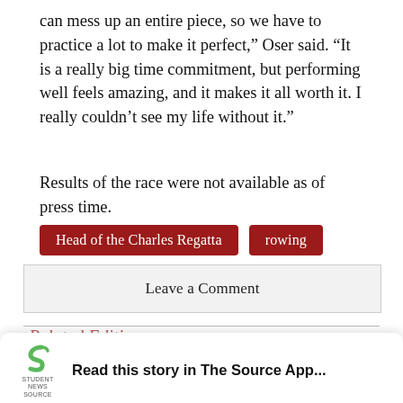can mess up an entire piece, so we have to practice a lot to make it perfect,” Oser said. “It is a really big time commitment, but performing well feels amazing, and it makes it all worth it. I really couldn’t see my life without it.”
Results of the race were not available as of press time.
Head of the Charles Regatta
rowing
Leave a Comment
[Figure (logo): Student News Source app logo - green swirl S shape with 'STUDENT NEWS SOURCE' text below]
Read this story in The Source App...
Open App
Continue in browser